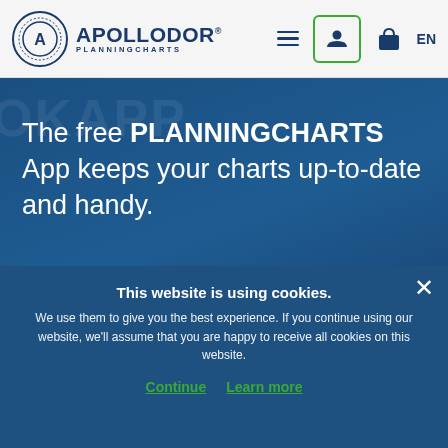[Figure (logo): Apollodor PlanningCharts logo with circular emblem and navigation icons including hamburger menu, user icon button with green border, shopping bag icon, and EN language selector]
The free PLANNINGCHARTS App keeps your charts up-to-date and handy.
[Figure (other): Green LEARN MORE button]
This website is using cookies.
We use them to give you the best experience. If you continue using our website, we'll assume that you are happy to receive all cookies on this website.
Continue   Learn more